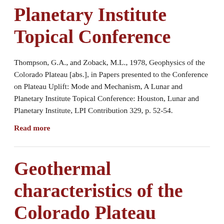Planetary Institute Topical Conference
Thompson, G.A., and Zoback, M.L., 1978, Geophysics of the Colorado Plateau [abs.], in Papers presented to the Conference on Plateau Uplift: Mode and Mechanism, A Lunar and Planetary Institute Topical Conference: Houston, Lunar and Planetary Institute, LPI Contribution 329, p. 52-54.
Read more
Geothermal characteristics of the Colorado Plateau [abs.], in Papers presented to the